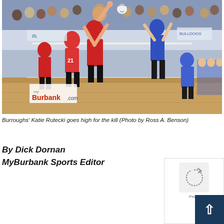[Figure (photo): Volleyball game action photo showing Burroughs players in red and opposing team in blue at a crowded gymnasium. A player (Katie Rutecki) is jumping high attempting a kill shot at the net. The 'myBurbank' watermark logo is visible in the lower left corner of the photo.]
Burroughs' Katie Rutecki goes high for the kill (Photo by Ross A. Benson)
By Dick Dornan
MyBurbank Sports Editor